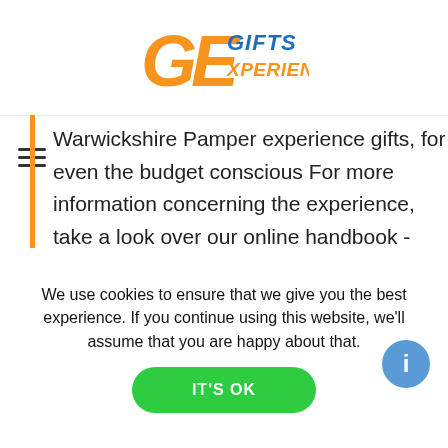[Figure (logo): GE Gifts Experience logo with orange G and E letters and blue/orange text]
Warwickshire Pamper experience gifts, for even the budget conscious For more information concerning the experience, take a look over our online handbook - simply click on one of the Warwickshire Pamper experience days to discover more about it. It's got a summary of what you can expect on the day-out also, in addition to information on the very
We use cookies to ensure that we give you the best experience. If you continue using this website, we'll assume that you are happy about that.
IT'S OK